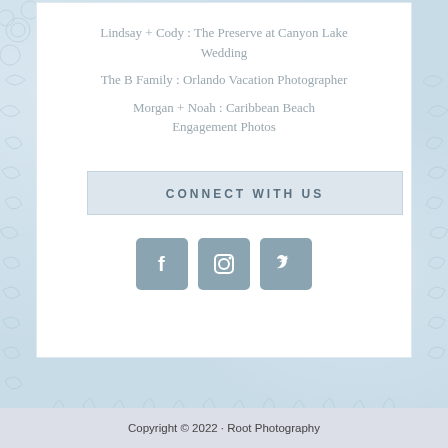Lindsay + Cody : The Preserve at Canyon Lake Wedding
The B Family : Orlando Vacation Photographer
Morgan + Noah : Caribbean Beach Engagement Photos
CONNECT WITH US
[Figure (illustration): Three social media icon buttons: Facebook (f), Instagram (camera), Twitter (bird), styled as rounded square tiles in muted blue-grey]
Copyright © 2022 · Root Photography